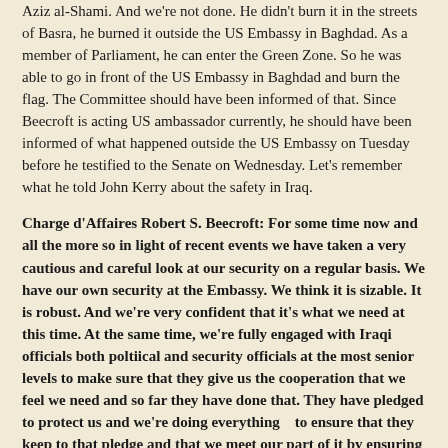Aziz al-Shami.  And we're not done.  He didn't burn it in the streets of Basra, he burned it outside the US Embassy in Baghdad.  As a member of Parliament, he can enter the Green Zone.  So he was able to go in front of the US Embassy in Baghdad and burn the flag.  The Committee should have been informed of that.  Since Beecroft is acting US ambassador currently, he should have been informed of what happened outside the US Embassy on Tuesday before he testified to the Senate on Wednesday.  Let's remember what he told John Kerry about the safety in Iraq.
Charge d'Affaires Robert S. Beecroft: For some time now and all the more so in light of recent events we have taken a very cautious and careful look at our security on a regular basis.  We have our own security at the Embassy.  We think it is sizable.  It is robust.  And we're very confident that it's what we need at this time.  At the same time,  we're fully engaged with Iraqi officials both poltiical and security officials at the most senior levels to make sure that they give us the cooperation that we feel we need and so far they have done that.  They have pledged to protect us and we're doing everything   to ensure that they keep to that pledge and that we meet our part of it by ensuring that we're as safe as we can be on our terms.  At the same time, I'd comment, we enjoy geographic advantages.  The Embassy is located inside the International Zone, the Green Zone, as you know, and there are a number of checkpoints that are closely guarded getting into it.  It's not a place where demonstrations usually take place.